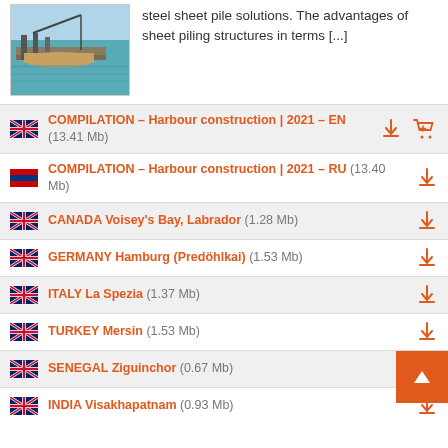[Figure (photo): Aerial photo of a harbour/marine construction site with sheet piles and water]
steel sheet pile solutions. The advantages of sheet piling structures in terms [...]
COMPILATION – Harbour construction | 2021 – EN (13.41 Mb)
COMPILATION – Harbour construction | 2021 – RU (13.40 Mb)
CANADA Voisey's Bay, Labrador (1.28 Mb)
GERMANY Hamburg (Predöhlkai) (1.53 Mb)
ITALY La Spezia (1.37 Mb)
TURKEY Mersin (1.53 Mb)
SENEGAL Ziguinchor (0.67 Mb)
INDIA Visakhapatnam (0.93 Mb)